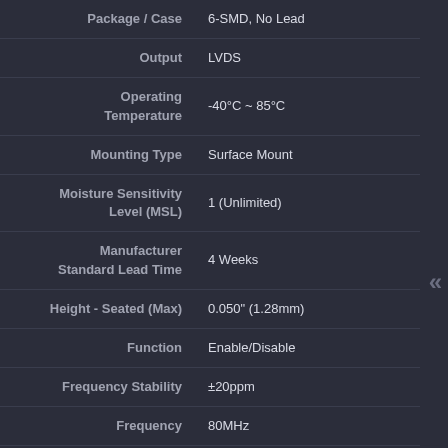| Property | Value |
| --- | --- |
| Package / Case | 6-SMD, No Lead |
| Output | LVDS |
| Operating Temperature | -40°C ~ 85°C |
| Mounting Type | Surface Mount |
| Moisture Sensitivity Level (MSL) | 1 (Unlimited) |
| Manufacturer Standard Lead Time | 4 Weeks |
| Height - Seated (Max) | 0.050" (1.28mm) |
| Function | Enable/Disable |
| Frequency Stability | ±20ppm |
| Frequency | 80MHz |
| Detailed Description | 80MHz XO (Standard) LVDS Oscillator 2.5V Enable/Disable 6-SMD, No Lead |
| Current - Supply (Max) | 23mA |
| Current - Supply (Disable) (Max) | 18mA |